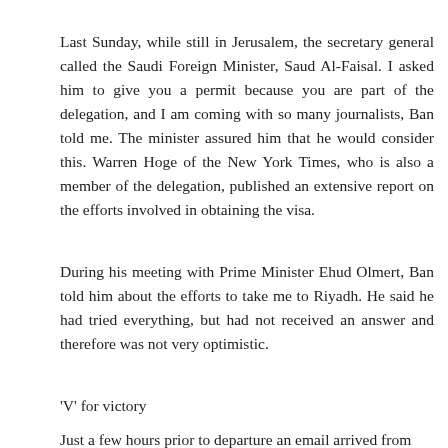Last Sunday, while still in Jerusalem, the secretary general called the Saudi Foreign Minister, Saud Al-Faisal. I asked him to give you a permit because you are part of the delegation, and I am coming with so many journalists, Ban told me. The minister assured him that he would consider this. Warren Hoge of the New York Times, who is also a member of the delegation, published an extensive report on the efforts involved in obtaining the visa.
During his meeting with Prime Minister Ehud Olmert, Ban told him about the efforts to take me to Riyadh. He said he had tried everything, but had not received an answer and therefore was not very optimistic.
'V' for victory
Just a few hours prior to departure an email arrived from